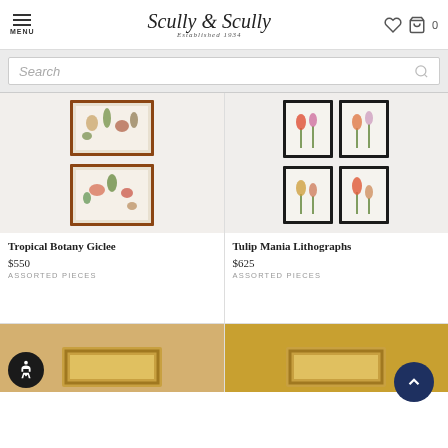[Figure (logo): Scully & Scully logo with MENU hamburger icon on left and heart/cart icons on right]
Search
[Figure (photo): Tropical Botany Giclee artwork showing two framed botanical prints stacked vertically]
[Figure (photo): Tulip Mania Lithographs artwork showing four framed tulip prints in black frames arranged in a 2x2 grid]
Tropical Botany Giclee
$550
ASSORTED PIECES
Tulip Mania Lithographs
$625
ASSORTED PIECES
[Figure (photo): Bottom partial product image showing gold frame artwork (left column, partially visible)]
[Figure (photo): Bottom partial product image showing gold frame artwork (right column, partially visible)]